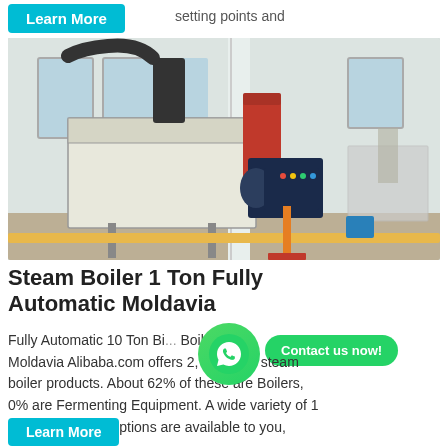setting points and
[Figure (photo): Industrial steam boiler unit in a factory/warehouse setting. Large white rectangular boiler with dark blue burner assembly attached on the right side, a large black exhaust duct on top, a red cylindrical tank, and yellow pipes on the floor. Background shows white columns and windows.]
Steam Boiler 1 Ton Fully Automatic Moldavia
Fully Automatic 10 Ton Bi... Boiler Moldavia Alibaba.com offers 2,796 1 ton steam boiler products. About 62% of these are Boilers, 0% are Fermenting Equipment. A wide variety of 1 ton steam boiler options are available to you,